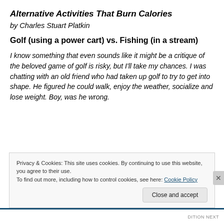Alternative Activities That Burn Calories
by Charles Stuart Platkin
Golf (using a power cart) vs. Fishing (in a stream)
I know something that even sounds like it might be a critique of the beloved game of golf is risky, but I'll take my chances. I was chatting with an old friend who had taken up golf to try to get into shape. He figured he could walk, enjoy the weather, socialize and lose weight. Boy, was he wrong.
Privacy & Cookies: This site uses cookies. By continuing to use this website, you agree to their use.
To find out more, including how to control cookies, see here: Cookie Policy
Close and accept